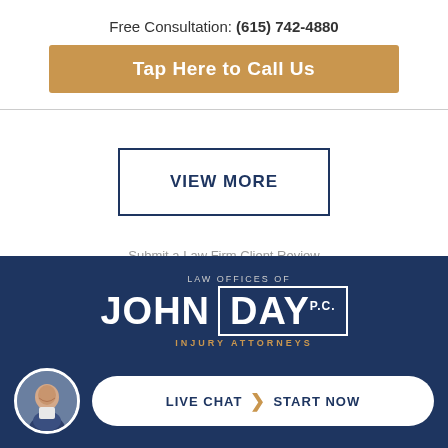Free Consultation: (615) 742-4880
Tap Here to Call Us
VIEW MORE
Submit a Law Firm Client Review
[Figure (logo): Law Offices of John Day P.C. Injury Attorneys logo on dark navy background with Live Chat Start Now button and attorney photo]
LIVE CHAT | START NOW